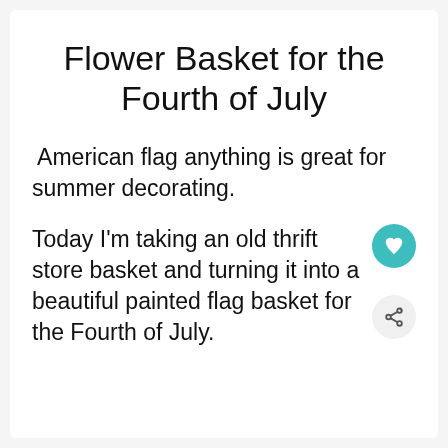Flower Basket for the Fourth of July
American flag anything is great for summer decorating.
Today I'm taking an old thrift store basket and turning it into a beautiful painted flag basket for the Fourth of July.